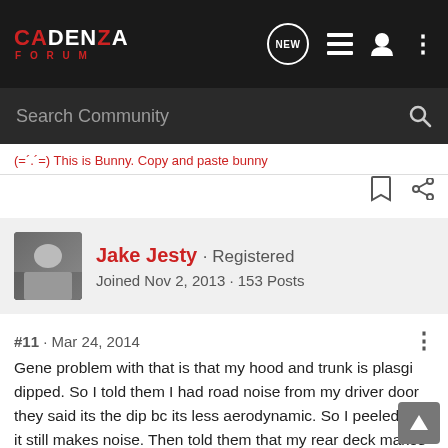CADENZA FORUM
Search Community
(=´.´=) This is Bunny. Copy and paste bunny
Jake Jesty · Registered
Joined Nov 2, 2013 · 153 Posts
#11 · Mar 24, 2014
Gene problem with that is that my hood and trunk is plasgi dipped. So I told them I had road noise from my driver door they said its the dip bc its less aerodynamic. So I peeled it off it still makes noise. Then told them that my rear deck makes noise. They said my car has coilovers and 20 inch rims that will cause it I said ok screw yall. So I dont care I am about to get my car wrapped in a week so lets see what that does.